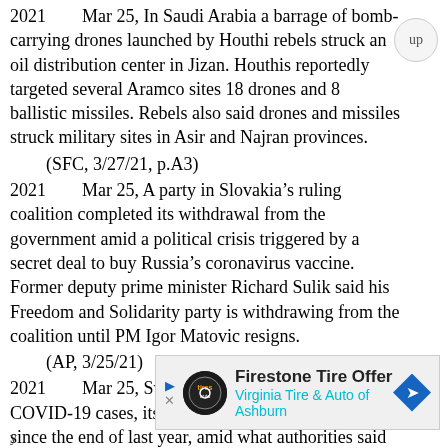2021        Mar 25, In Saudi Arabia a barrage of bomb-carrying drones launched by Houthi rebels struck an oil distribution center in Jizan. Houthis reportedly targeted several Aramco sites 18 drones and 8 ballistic missiles. Rebels also said drones and missiles struck military sites in Asir and Najran provinces.
    (SFC, 3/27/21, p.A3)
2021        Mar 25, A party in Slovakia's ruling coalition completed its withdrawal from the government amid a political crisis triggered by a secret deal to buy Russia's coronavirus vaccine. Former deputy prime minister Richard Sulik said his Freedom and Solidarity party is withdrawing from the coalition until PM Igor Matovic resigns.
    (AP, 3/25/21)
2021        Mar 25, Sweden registered 7,706 new COVID-19 cases, its highest number of new cases since the end of last year, amid what authorities said was flagging compliance with the mainly voluntary recommendations to curb
[Figure (infographic): Advertisement bar for Firestone Tire Offer - Virginia Tire & Auto of Ashburn, with auto service logo, play and close buttons, and a blue diamond arrow icon.]
y